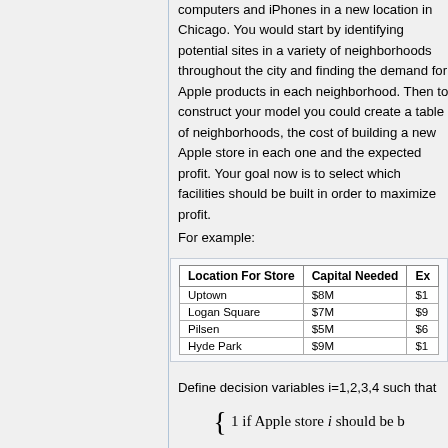computers and iPhones in a new location in Chicago. You would start by identifying potential sites in a variety of neighborhoods throughout the city and finding the demand for Apple products in each neighborhood. Then to construct your model you could create a table of neighborhoods, the cost of building a new Apple store in each one and the expected profit. Your goal now is to select which facilities should be built in order to maximize profit.
For example:
| Location For Store | Capital Needed | Ex... |
| --- | --- | --- |
| Uptown | $8M | $1... |
| Logan Square | $7M | $9... |
| Pilsen | $5M | $6... |
| Hyde Park | $9M | $1... |
Define decision variables i=1,2,3,4 such that